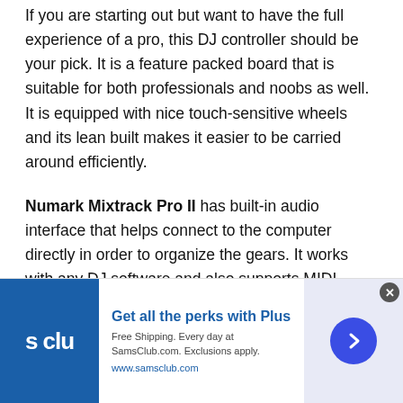If you are starting out but want to have the full experience of a pro, this DJ controller should be your pick. It is a feature packed board that is suitable for both professionals and noobs as well. It is equipped with nice touch-sensitive wheels and its lean built makes it easier to be carried around efficiently.
Numark Mixtrack Pro II has built-in audio interface that helps connect to the computer directly in order to organize the gears. It works with any DJ software and also supports MIDI.
[Figure (infographic): Sam's Club advertisement banner: blue logo box on left with 's clu' text, ad copy 'Get all the perks with Plus', subtext about free shipping at SamsClub.com, URL www.samsclub.com, circle with right arrow on right, close button top right.]